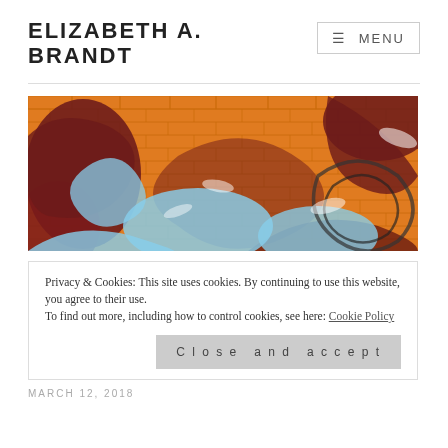ELIZABETH A. BRANDT
≡ MENU
[Figure (photo): Colorful graffiti mural on a brick wall with orange, light blue, and dark red/maroon swirling floral and abstract patterns]
Privacy & Cookies: This site uses cookies. By continuing to use this website, you agree to their use.
To find out more, including how to control cookies, see here: Cookie Policy
Close and accept
MARCH 12, 2018